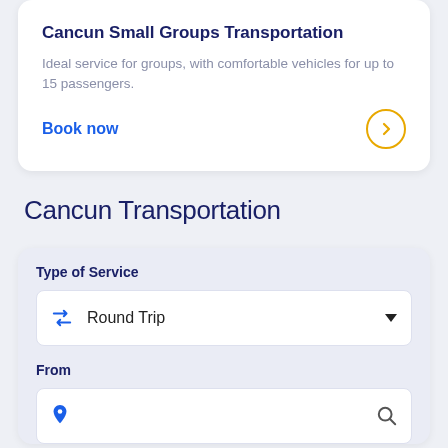Cancun Small Groups Transportation
Ideal service for groups, with comfortable vehicles for up to 15 passengers.
Book now
Cancun Transportation
Type of Service
Round Trip
From